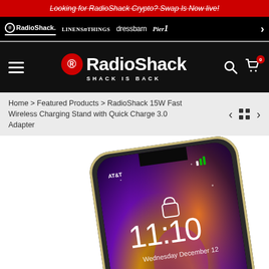Looking for RadioShack Crypto? Swap Is Now live!
[Figure (screenshot): RadioShack brand navigation bar showing RadioShack, LINENS n THINGS, dressbarn, Pier1 logos on black background]
[Figure (logo): RadioShack main header with hamburger menu, RadioShack logo with red circle R, SHACK IS BACK tagline, search and cart icons]
Home › Featured Products › RadioShack 15W Fast Wireless Charging Stand with Quick Charge 3.0 Adapter
[Figure (photo): iPhone XS Max displayed diagonally showing lock screen with time 11:10 and date Wednesday December 12, with colorful galaxy wallpaper]